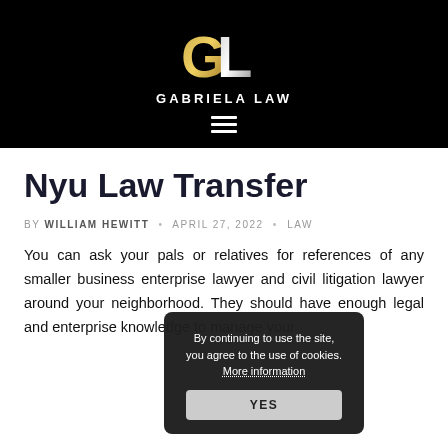[Figure (logo): Gabriela Law logo with gold and silver GL monogram and white text GABRIELA LAW on black background]
Nyu Law Transfer
BY WILLIAM HEWITT · APRIL 27, 2022 · LAW
You can ask your pals or relatives for references of any smaller business enterprise lawyer and civil litigation lawyer around your neighborhood. They should have enough legal and enterprise knowledge to manage your
By continuing to use the site, you agree to the use of cookies. More information YES